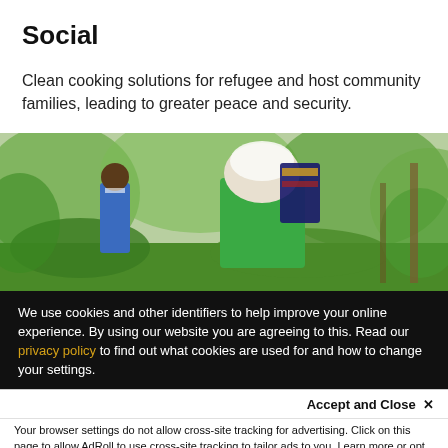Social
Clean cooking solutions for refugee and host community families, leading to greater peace and security.
[Figure (photo): People walking through lush green vegetation outdoors; a woman in colorful clothing and head wrap in foreground, a person in blue vest in background.]
We use cookies and other identifiers to help improve your online experience. By using our website you are agreeing to this. Read our privacy policy to find out what cookies are used for and how to change your settings.
Accept and Close ✕
Your browser settings do not allow cross-site tracking for advertising. Click on this page to allow AdRoll to use cross-site tracking to tailor ads to you. Learn more or opt out of this AdRoll tracking by clicking here. This message only appears once.